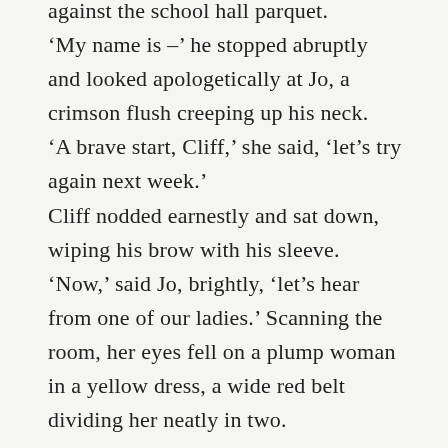against the school hall parquet. ‘My name is –’ he stopped abruptly and looked apologetically at Jo, a crimson flush creeping up his neck. ‘A brave start, Cliff,’ she said, ‘let’s try again next week.’ Cliff nodded earnestly and sat down, wiping his brow with his sleeve. ‘Now,’ said Jo, brightly, ‘let’s hear from one of our ladies.’ Scanning the room, her eyes fell on a plump woman in a yellow dress, a wide red belt dividing her neatly in two.